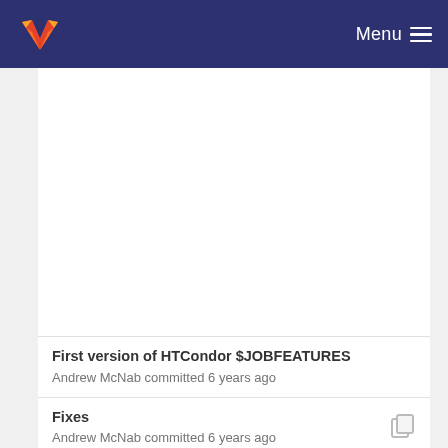GitLab — Menu
First version of HTCondor $JOBFEATURES
Andrew McNab committed 6 years ago
Fixes
Andrew McNab committed 6 years ago
Full set of key/values
Andrew McNab committed 6 years ago
First version of HTCondor $JOBFEATURES
Andrew McNab committed 6 years ago